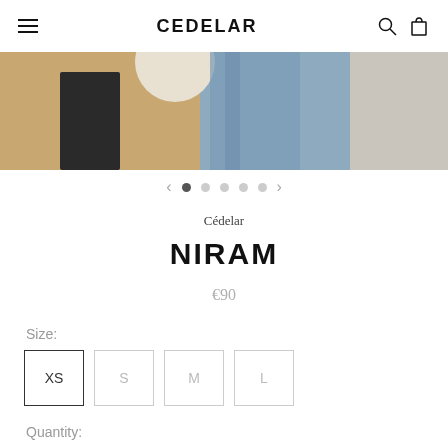CEDELAR
[Figure (photo): Product photo showing jeans and accessories on a tan/blue background, cropped at the top portion]
[Figure (other): Carousel navigation: left arrow, 5 dots (first dot active/filled), right arrow]
Cédelar
NIRAM
€90
Size:
XS
S
M
L
Quantity: